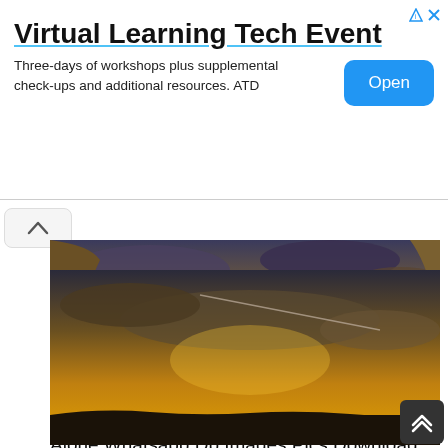[Figure (screenshot): Advertisement banner: Virtual Learning Tech Event with Open button]
Virtual Learning Tech Event
Three-days of workshops plus supplemental check-ups and additional resources. ATD
[Figure (photo): Fantasy-style photo of a robed figure standing on rocky shore at golden sunset, with a dragon creature nearby and cliffs in background]
Alone Whatsapp Dp Images Pics Download
[Figure (photo): Dramatic sky photo with golden sunset and clouds, dark silhouette landscape at bottom]